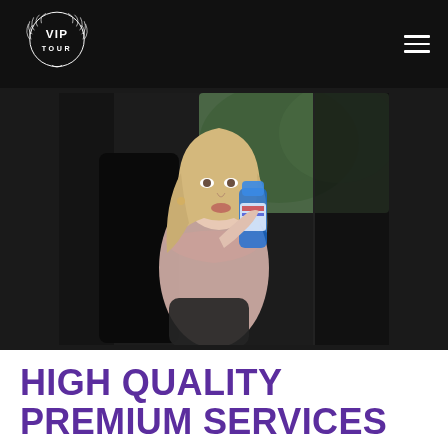[Figure (logo): VIP TOUR logo — circular laurel wreath with 'VIP' text above 'TOUR' in white on black background]
[Figure (photo): A blonde woman in a light pink blouse sitting in the back seat of a luxury black car, drinking from a water bottle]
HIGH QUALITY PREMIUM SERVICES